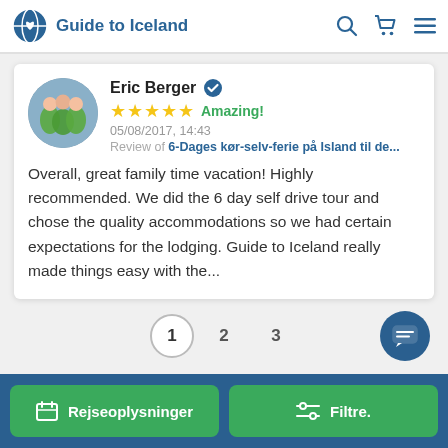Guide to Iceland
Eric Berger ✓ ★★★★★ Amazing! 05/08/2017, 14:43 Review of 6-Dages kør-selv-ferie på Island til de...
Overall, great family time vacation! Highly recommended. We did the 6 day self drive tour and chose the quality accommodations so we had certain expectations for the lodging. Guide to Iceland really made things easy with the...
1  2  3
Rejseoplysninger   Filtre.